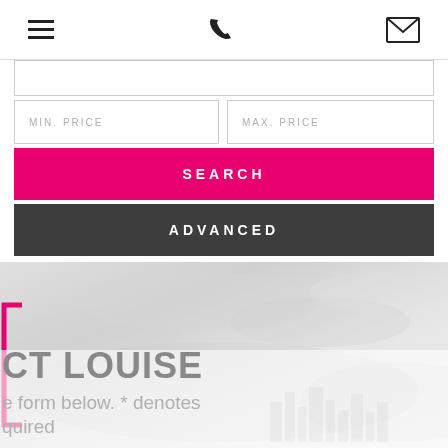[Figure (screenshot): Mobile website navigation bar with hamburger menu icon, phone icon, and envelope/mail icon on white background]
MIN. PRICE
MAX. PRICE
SEARCH
ADVANCED
[Figure (photo): Misty sky background hero image with pink bracket decoration on left side and faint city skyline silhouette at bottom right]
CT LOUISE
e form below. * denotes
quired